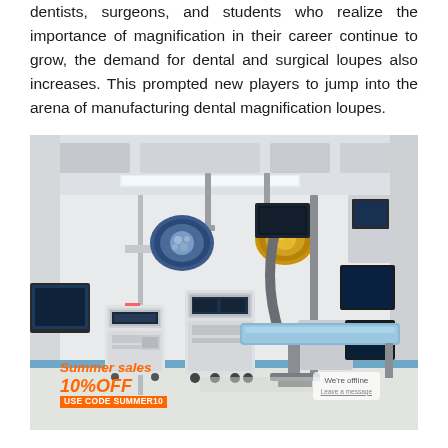dentists, surgeons, and students who realize the importance of magnification in their career continue to grow, the demand for dental and surgical loupes also increases. This prompted new players to jump into the arena of manufacturing dental magnification loupes.
[Figure (photo): Interior of a modern surgical operating room with overhead surgical lights, a blue padded operating table, medical equipment carts, monitors, and medical imaging arm device. An orange promotional overlay reads 'Summer sales 10%OFF USE CODE SUMMER10'. A 'We're offline' chat badge appears in the lower right corner.]